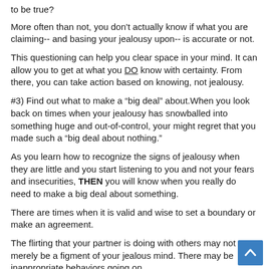to be true?
More often than not, you don't actually know if what you are claiming-- and basing your jealousy upon-- is accurate or not.
This questioning can help you clear space in your mind. It can allow you to get at what you DO know with certainty. From there, you can take action based on knowing, not jealousy.
#3) Find out what to make a “big deal” about.When you look back on times when your jealousy has snowballed into something huge and out-of-control, your might regret that you made such a “big deal about nothing.”
As you learn how to recognize the signs of jealousy when they are little and you start listening to you and not your fears and insecurities, THEN you will know when you really do need to make a big deal about something.
There are times when it is valid and wise to set a boundary or make an agreement.
The flirting that your partner is doing with others may not merely be a figment of your jealous mind. There may be inappropriate behaviors going on.
When we recommend that you make a big deal about some things, we aren't suggesting that it's a good idea to yell around at your partner (or anyone else).